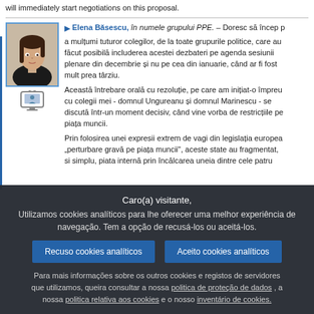will immediately start negotiations on this proposal.
Elena Băsescu, în numele grupului PPE. – Doresc să încep prin a mulțumi tuturor colegilor, de la toate grupurile politice, care au făcut posibilă includerea acestei dezbateri pe agenda sesiunii plenare din decembrie și nu pe cea din ianuarie, când ar fi fost mult prea târziu.
Această întrebare orală cu rezoluție, pe care am inițiat-o împreună cu colegii mei - domnul Ungureanu și domnul Marinescu - se discută într-un moment decisiv, când vine vorba de restricțiile pe piața muncii.
Prin folosirea unei expresii extrem de vagi din legislația europeană „perturbare gravă pe piața muncii", aceste state au fragmentat, si simplu, piata internă prin încălcarea uneia dintre cele patru
Caro(a) visitante,
Utilizamos cookies analíticos para lhe oferecer uma melhor experiência de navegação. Tem a opção de recusá-los ou aceitá-los.
Recuso cookies analíticos
Aceito cookies analíticos
Para mais informações sobre os outros cookies e registos de servidores que utilizamos, queira consultar a nossa politica de proteção de dados , a nossa politica relativa aos cookies e o nosso inventário de cookies.